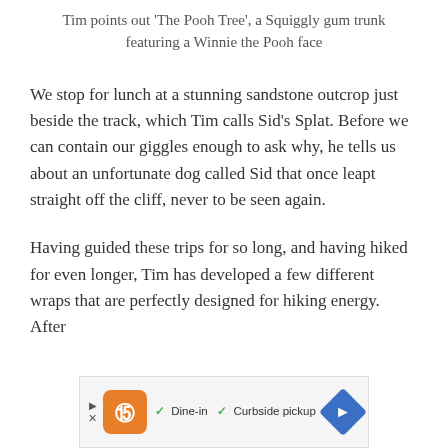Tim points out 'The Pooh Tree', a Squiggly gum trunk featuring a Winnie the Pooh face
We stop for lunch at a stunning sandstone outcrop just beside the track, which Tim calls Sid's Splat. Before we can contain our giggles enough to ask why, he tells us about an unfortunate dog called Sid that once leapt straight off the cliff, never to be seen again.
Having guided these trips for so long, and having hiked for even longer, Tim has developed a few different wraps that are perfectly designed for hiking energy. After
[Figure (other): Advertisement banner showing a restaurant logo with orange background, checkmarks for Dine-in and Curbside pickup options, and a blue navigation arrow icon]